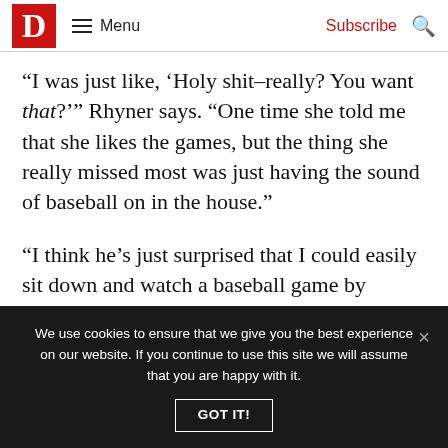D | Menu | Subscribe
“I was just like, ‘Holy shit–really? You want that?’” Rhyner says. “One time she told me that she likes the games, but the thing she really missed most was just having the sound of baseball on in the house.”
“I think he’s just surprised that I could easily sit down and watch a baseball game by myself for three hours,” Jordan says.
We use cookies to ensure that we give you the best experience on our website. If you continue to use this site we will assume that you are happy with it.
GOT IT!